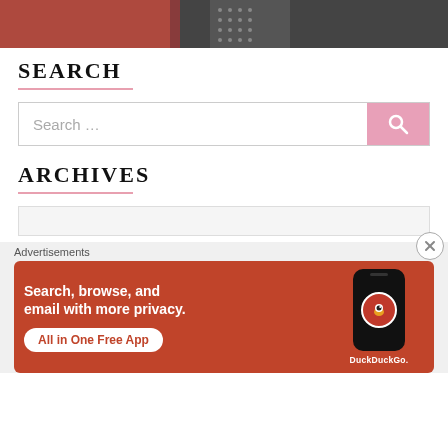[Figure (photo): Cropped photo showing two people, one in red and one in a dark suit with a patterned tie]
SEARCH
[Figure (other): Search bar with pink search button and magnifying glass icon]
ARCHIVES
[Figure (other): DuckDuckGo advertisement: Search, browse, and email with more privacy. All in One Free App. Shows a phone with DuckDuckGo logo.]